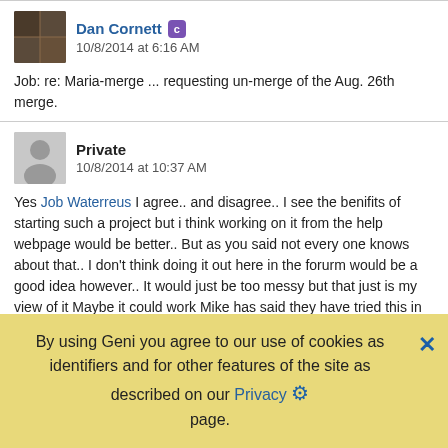Dan Cornett [C badge] 10/8/2014 at 6:16 AM
Job: re: Maria-merge ... requesting un-merge of the Aug. 26th merge.
Private 10/8/2014 at 10:37 AM
Yes Job Waterreus I agree.. and disagree.. I see the benifits of starting such a project but i think working on it from the help webpage would be better.. But as you said not every one knows about that.. I don't think doing it out here in the forurm would be a good idea however.. It would just be too messy but that just is my view of it Maybe it could work Mike has said they have tried this in the past and it has not been exactly helpfull... but it is a good idea worth exploreing..
Private User
By using Geni you agree to our use of cookies as identifiers and for other features of the site as described on our Privacy page.